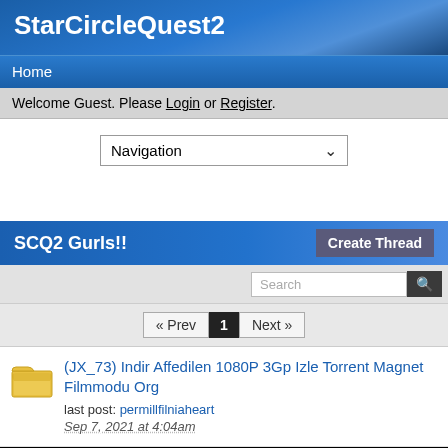StarCircleQuest2
Home
Welcome Guest. Please Login or Register.
[Figure (screenshot): Navigation dropdown selector]
SCQ2 Gurls!!
Create Thread
« Prev  1  Next »
(JX_73) Indir Affedilen 1080P 3Gp Izle Torrent Magnet Filmmodu Org
last post: permillfilniaheart
Sep 7, 2021 at 4:04am